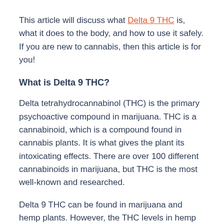This article will discuss what Delta 9 THC is, what it does to the body, and how to use it safely. If you are new to cannabis, then this article is for you!
What is Delta 9 THC?
Delta tetrahydrocannabinol (THC) is the primary psychoactive compound in marijuana. THC is a cannabinoid, which is a compound found in cannabis plants. It is what gives the plant its intoxicating effects. There are over 100 different cannabinoids in marijuana, but THC is the most well-known and researched.
Delta 9 THC can be found in marijuana and hemp plants. However, the THC levels in hemp are much lower than in marijuana. This is because marijuana has been bred to have high THC levels, while hemp